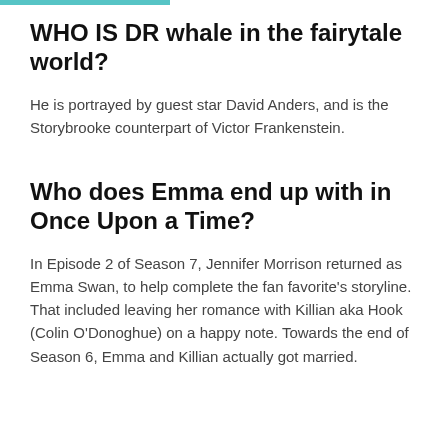WHO IS DR whale in the fairytale world?
He is portrayed by guest star David Anders, and is the Storybrooke counterpart of Victor Frankenstein.
Who does Emma end up with in Once Upon a Time?
In Episode 2 of Season 7, Jennifer Morrison returned as Emma Swan, to help complete the fan favorite's storyline. That included leaving her romance with Killian aka Hook (Colin O'Donoghue) on a happy note. Towards the end of Season 6, Emma and Killian actually got married.